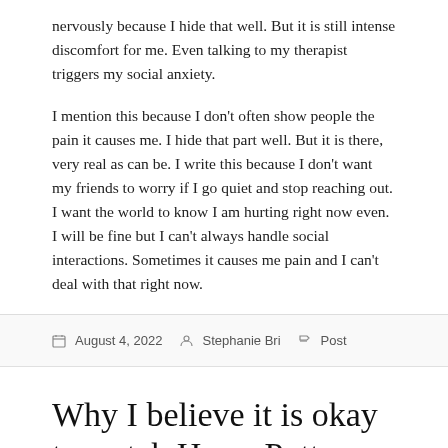nervously because I hide that well. But it is still intense discomfort for me. Even talking to my therapist triggers my social anxiety.
I mention this because I don't often show people the pain it causes me. I hide that part well. But it is there, very real as can be. I write this because I don't want my friends to worry if I go quiet and stop reaching out. I want the world to know I am hurting right now even. I will be fine but I can't always handle social interactions. Sometimes it causes me pain and I can't deal with that right now.
August 4, 2022  Stephanie Bri  Post
Why I believe it is okay to watch Harry Potter, eat Chic